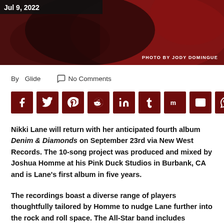[Figure (photo): Photo strip at top of article page showing a person, dark red tones. Credit: PHOTO BY JODY DOMINGUE]
PHOTO BY JODY DOMINGUE
By Glide   No Comments
[Figure (infographic): Row of dark red social share buttons: Facebook, Twitter, Pinterest, Reddit, LinkedIn, Tumblr, Mix, Email, WhatsApp]
Nikki Lane will return with her anticipated fourth album Denim & Diamonds on September 23rd via New West Records. The 10-song project was produced and mixed by Joshua Homme at his Pink Duck Studios in Burbank, CA and is Lane's first album in five years.
The recordings boast a diverse range of players thoughtfully tailored by Homme to nudge Lane further into the rock and roll space. The All-Star band includes Homme, as well as his